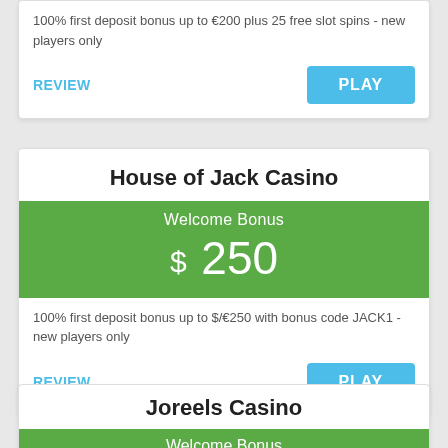100% first deposit bonus up to €200 plus 25 free slot spins - new players only
REVIEW
PLAY
House of Jack Casino
Welcome Bonus
$ 250
100% first deposit bonus up to $/€250 with bonus code JACK1 - new players only
REVIEW
PLAY
Joreels Casino
Welcome Bonus